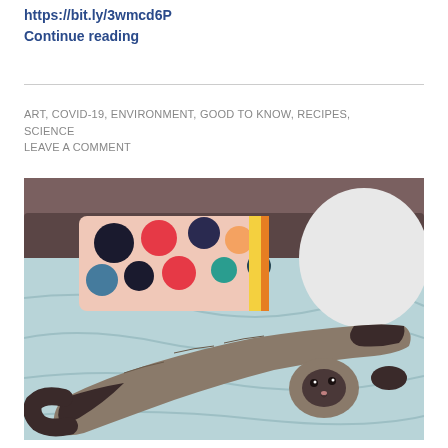https://bit.ly/3wmcd6P
Continue reading
ART, COVID-19, ENVIRONMENT, GOOD TO KNOW, RECIPES, SCIENCE
LEAVE A COMMENT
[Figure (photo): A Siamese or Ragdoll cat lying stretched out on a light blue bed with a colorful polka-dot pillow in the background.]